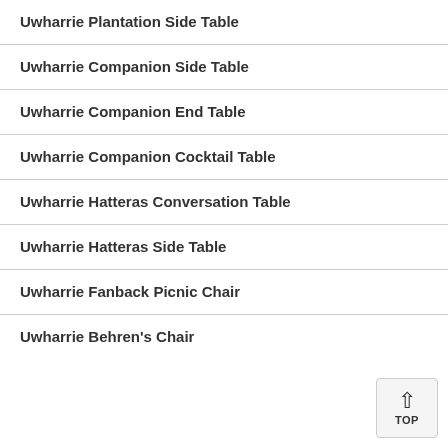Uwharrie Plantation Side Table
Uwharrie Companion Side Table
Uwharrie Companion End Table
Uwharrie Companion Cocktail Table
Uwharrie Hatteras Conversation Table
Uwharrie Hatteras Side Table
Uwharrie Fanback Picnic Chair
Uwharrie Behren's Chair